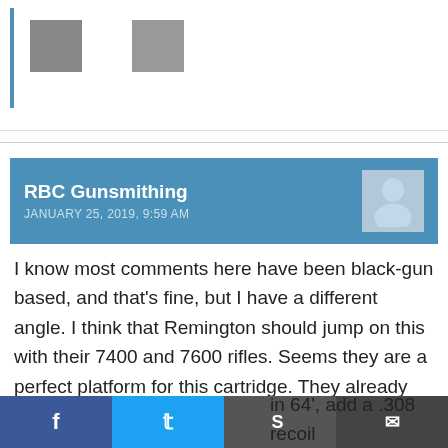[Figure (other): Two small placeholder image thumbnails with a blue vertical bar on the left]
RBC Gunsmithing
JANUARY 25, 2019, 9:59 AM
I know most comments here have been black-gun based, and that's fine, but I have a different angle. I think that Remington should jump on this with their 7400 and 7600 rifles. Seems they are a perfect platform for this cartridge. They already have made .35 caliber barrels (would require correct chambering) for these guns, and have made a .223 in 64', add a .308 recoil ess. Heck, their